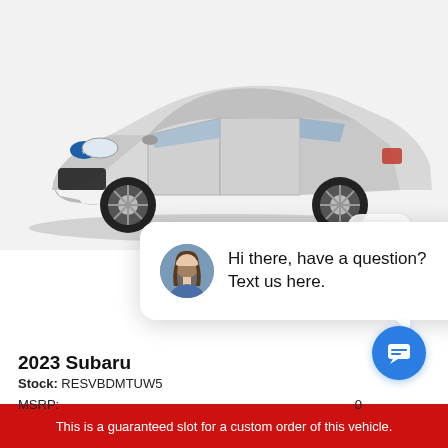[Figure (photo): Silver 2023 Subaru sedan photographed from a front three-quarter angle on a white/light background.]
close
[Figure (screenshot): Chat popup overlay with a woman's avatar photo and text: Hi there, have a question? Text us here.]
2023 Subaru
Stock: RESVBDMTUW5
MSRP:
This is a guaranteed slot for a custom order of this vehicle.